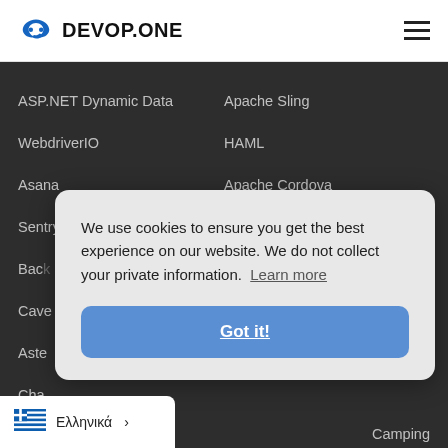DEVOP.ONE
ASP.NET Dynamic Data
Apache Sling
WebdriverIO
HAML
Asana
Apache Cordova
Sentry
Appium
Back[…]
Cave[…]
Aste[…]
Cha[…]
Camping
We use cookies to ensure you get the best experience on our website. We do not collect your private information. Learn more
Got it!
Ελληνικά